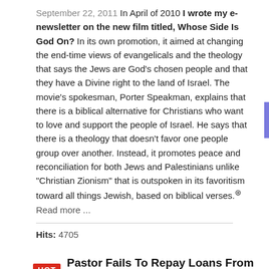September 22, 2011 In April of 2010 I wrote my e-newsletter on the new film titled, Whose Side Is God On? In its own promotion, it aimed at changing the end-time views of evangelicals and the theology that says the Jews are God's chosen people and that they have a Divine right to the land of Israel. The movie's spokesman, Porter Speakman, explains that there is a biblical alternative for Christians who want to love and support the people of Israel. He says that there is a theology that doesn't favor one people group over another. Instead, it promotes peace and reconciliation for both Jews and Palestinians unlike "Christian Zionism" that is outspoken in its favoritism toward all things Jewish, based on biblical verses. Read more ...
Hits: 4705
HOT Pastor Fails To Repay Loans From Church Members
Category: Church Issues
SEATTLE - Pastor Tony Morris is known as a man of God